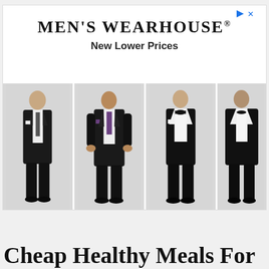[Figure (illustration): Men's Wearhouse advertisement banner with brand name, tagline 'New Lower Prices', and four male models wearing dark suits and tuxedos.]
Cheap Healthy Meals For